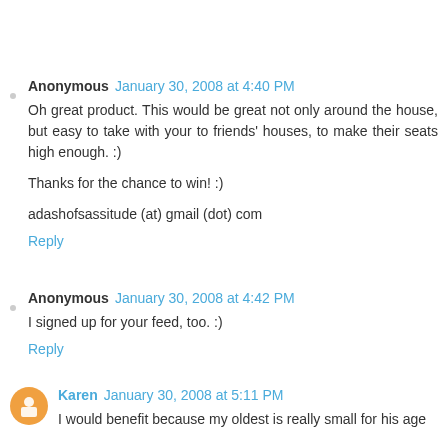Anonymous January 30, 2008 at 4:40 PM
Oh great product. This would be great not only around the house, but easy to take with your to friends' houses, to make their seats high enough. :)
Thanks for the chance to win! :)
adashofsassitude (at) gmail (dot) com
Reply
Anonymous January 30, 2008 at 4:42 PM
I signed up for your feed, too. :)
Reply
Karen January 30, 2008 at 5:11 PM
I would benefit because my oldest is really small for his age and